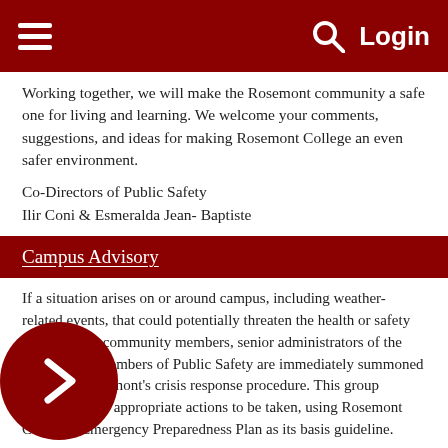≡   🔍   Login
Working together, we will make the Rosemont community a safe one for living and learning. We welcome your comments, suggestions, and ideas for making Rosemont College an even safer environment.
Co-Directors of Public Safety
Ilir Coni & Esmeralda Jean- Baptiste
Campus Advisory
If a situation arises on or around campus, including weather-related events, that could potentially threaten the health or safety of Rosemont community members, senior administrators of the College and members of Public Safety are immediately summoned as part of Rosemont's crisis response procedure. This group determines the appropriate actions to be taken, using Rosemont College's Emergency Preparedness Plan as its basis guideline.
Crisis advisory action may include: